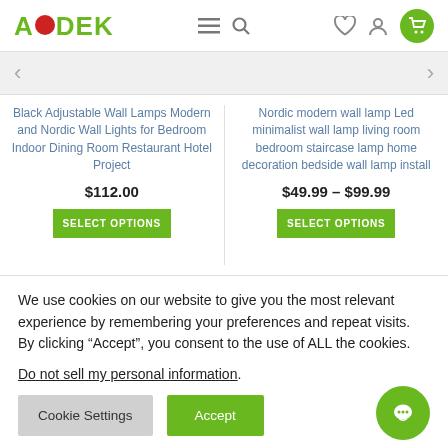[Figure (logo): AODEK logo in green letters with red circle replacing the O]
Black Adjustable Wall Lamps Modern and Nordic Wall Lights for Bedroom Indoor Dining Room Restaurant Hotel Project
$112.00
SELECT OPTIONS
Nordic modern wall lamp Led minimalist wall lamp living room bedroom staircase lamp home decoration bedside wall lamp install
$49.99 – $99.99
SELECT OPTIONS
We use cookies on our website to give you the most relevant experience by remembering your preferences and repeat visits. By clicking “Accept”, you consent to the use of ALL the cookies.
Do not sell my personal information.
Cookie Settings
Accept